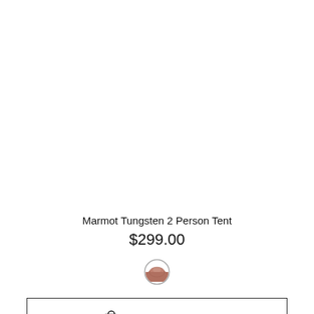Marmot Tungsten 2 Person Tent
$299.00
[Figure (illustration): Small circular color swatch showing a brown/orange tent color, with a thin gray circular border]
ADD TO CART